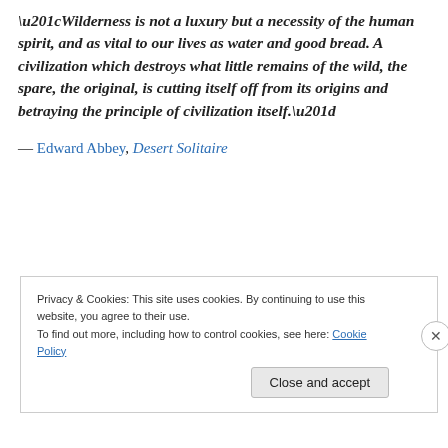“Wilderness is not a luxury but a necessity of the human spirit, and as vital to our lives as water and good bread. A civilization which destroys what little remains of the wild, the spare, the original, is cutting itself off from its origins and betraying the principle of civilization itself.”
— Edward Abbey, Desert Solitaire
Privacy & Cookies: This site uses cookies. By continuing to use this website, you agree to their use. To find out more, including how to control cookies, see here: Cookie Policy